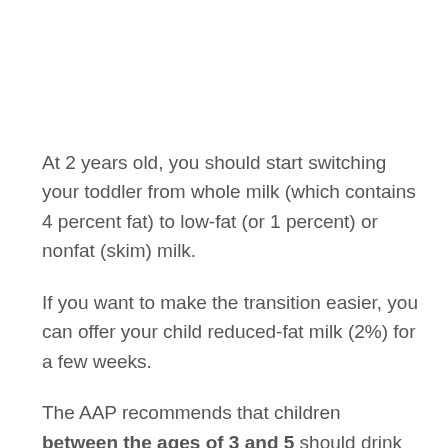At 2 years old, you should start switching your toddler from whole milk (which contains 4 percent fat) to low-fat (or 1 percent) or nonfat (skim) milk.
If you want to make the transition easier, you can offer your child reduced-fat milk (2%) for a few weeks.
The AAP recommends that children between the ages of 3 and 5 should drink two to five cups (16 to